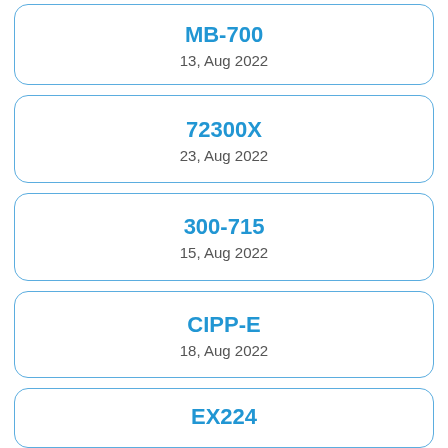MB-700
13, Aug 2022
72300X
23, Aug 2022
300-715
15, Aug 2022
CIPP-E
18, Aug 2022
EX224